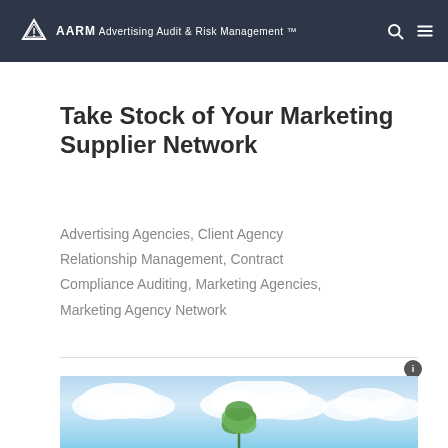AARM Advertising Audit & Risk Management™
Take Stock of Your Marketing Supplier Network
Advertising Agencies, Client Agency Relationship Management, Contract Compliance Auditing, Marketing Agencies, Marketing Agency Network
[Figure (photo): Sky with clouds and a green plant/tree, used as article header image]